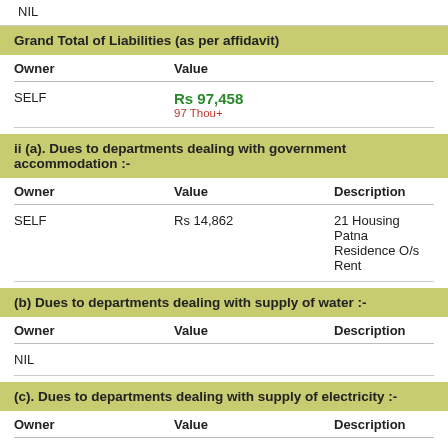NIL
Grand Total of Liabilities (as per affidavit)
| Owner | Value |
| --- | --- |
| SELF | Rs 97,458
97 Thou+ |
ii (a). Dues to departments dealing with government accommodation :-
| Owner | Value | Description |
| --- | --- | --- |
| SELF | Rs 14,862 | 21 Housing Patna Residence O/s Rent |
(b) Dues to departments dealing with supply of water :-
| Owner | Value | Description |
| --- | --- | --- |
| NIL |  |  |
(c). Dues to departments dealing with supply of electricity :-
| Owner | Value | Description |
| --- | --- | --- |
| NIL |  |  |